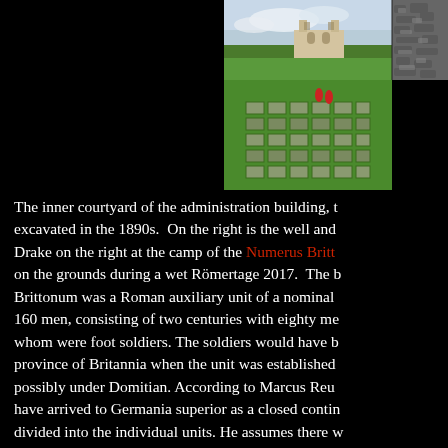[Figure (photo): Left portion: Color photograph of the inner courtyard of the administration building showing Roman ruins/foundations embedded in green grass field with a reconstructed Roman building visible in the background. Right portion: Black and white aerial or overhead photograph showing rocky/ruined terrain.]
The inner courtyard of the administration building, t... excavated in the 1890s. On the right is the well and... Drake on the right at the camp of the Numerus Britt... on the grounds during a wet Römertage 2017. The b... Brittonum was a Roman auxiliary unit of a nominal... 160 men, consisting of two centuries with eighty me... whom were foot soldiers. The soldiers would have b... province of Britannia when the unit was established... possibly under Domitian. According to Marcus Reu... have arrived to Germania superior as a closed contin... divided into the individual units. He assumes there w... to 2000 British in this first contingent.